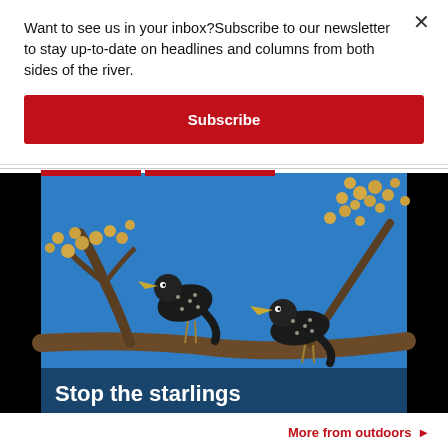Want to see us in your inbox?Subscribe to our newsletter to stay up-to-date on headlines and columns from both sides of the river.
Subscribe
[Figure (photo): Two European starlings perched on branches with yellow berries against a bright blue sky. A text overlay at the bottom reads 'Stop the starlings'.]
More from outdoors ▶